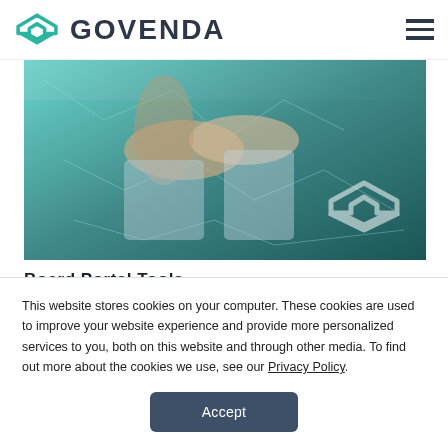GOVENDA
[Figure (photo): Hero image showing a digital handshake with teal network overlay and the Govenda logo watermark in the lower right corner]
Board Portal Tools
6 MIN READ | MARCH 4, 2020
This website stores cookies on your computer. These cookies are used to improve your website experience and provide more personalized services to you, both on this website and through other media. To find out more about the cookies we use, see our Privacy Policy.
Accept